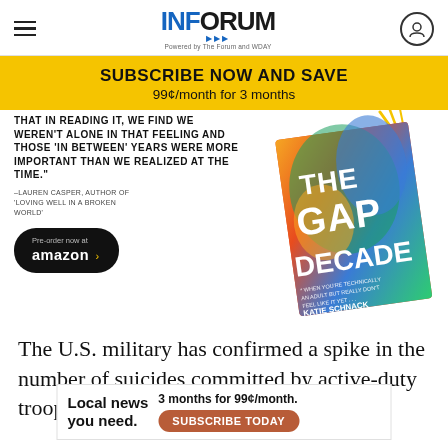INFORUM — Powered by The Forum and WDAY
[Figure (infographic): Subscribe Now and Save banner: 99¢/month for 3 months, yellow background]
[Figure (infographic): Book advertisement for 'The Gap Decade' by Katie Schnack with quote by Lauren Casper, author of 'Loving Well in a Broken World'. Includes Pre-order now at amazon button. Quote text: THAT IN READING IT, WE FIND WE WEREN'T ALONE IN THAT FEELING AND THOSE 'IN BETWEEN' YEARS WERE MORE IMPORTANT THAN WE REALIZED AT THE TIME.]
The U.S. military has confirmed a spike in the number of suicides committed by active-duty troops in Iraq a...
[Figure (infographic): Local news you need. 3 months for 99¢/month. SUBSCRIBE TODAY — advertisement overlay]